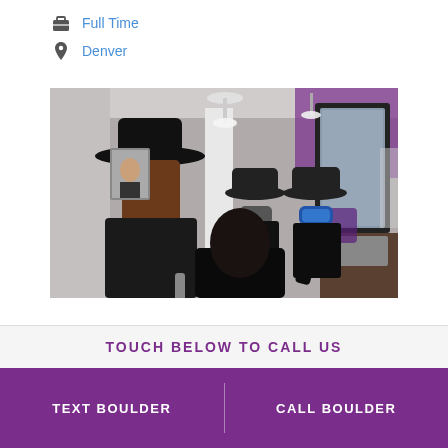Full Time
Denver
[Figure (photo): Interior of a hair salon showing stylists in black outfits and wide-brim hats, wearing face masks, working on a client's hair. Purple accent colors visible on the walls. Mirror reflects the scene.]
TOUCH BELOW TO CALL US
TEXT BOULDER
CALL BOULDER